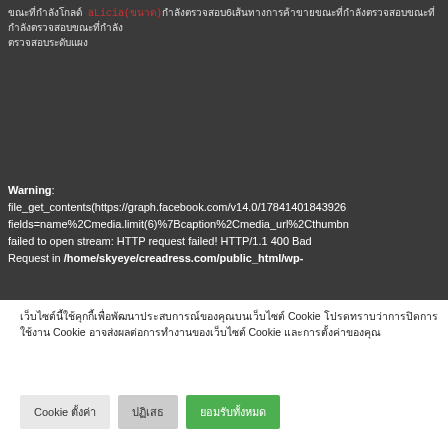ขณะที่กำลังโกลด์ aLicia(ขนาด)กำลังตรวจสอบ6เส้นทางการค้าขายขณะที่กำลังตรวจสอบขณะที่กำลังตรวจสอบขณะที่กำลัง
Warning: file_get_contents(https://graph.facebook.com/v14.0/17841401843926fields=name%2Cmedia.limit(6)%7Bcaption%2Cmedia_url%2Cthumbnail failed to open stream: HTTP request failed! HTTP/1.1 400 Bad Request in /home/skyeye/creadress.com/public_html/wp-
เว็บไซต์นี้ใช้คุกกี้เพื่อพัฒนาประสบการณ์ของคุณบนเว็บไซต์ Cookie โปรดทราบว่าการปิดการใช้งาน Cookie อาจส่งผลต่อการทำงานของเว็บไซต์ Cookie และการตั้งค่าของคุณ
Cookieตั้งค่า
ปฏิเสธ
ยอมรับทั้งหมด